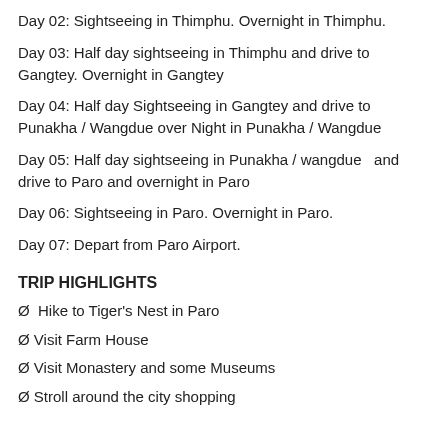Day 02: Sightseeing in Thimphu. Overnight in Thimphu.
Day 03: Half day sightseeing in Thimphu and drive to Gangtey. Overnight in Gangtey
Day 04: Half day Sightseeing in Gangtey and drive to Punakha / Wangdue over Night in Punakha / Wangdue
Day 05: Half day sightseeing in Punakha / wangdue   and drive to Paro and overnight in Paro
Day 06: Sightseeing in Paro. Overnight in Paro.
Day 07: Depart from Paro Airport.
TRIP HIGHLIGHTS
Ø  Hike to Tiger's Nest in Paro
Ø Visit Farm House
Ø Visit Monastery and some Museums
Ø Stroll around the city shopping